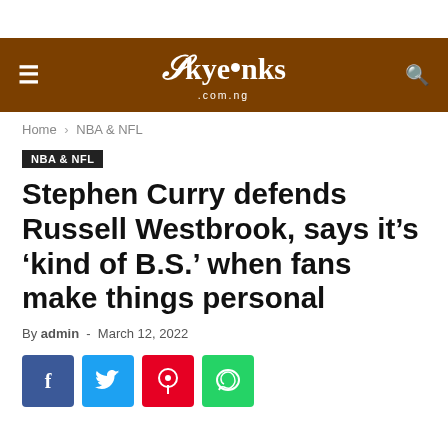SkyeLinks .com.ng
Home › NBA & NFL
NBA & NFL
Stephen Curry defends Russell Westbrook, says it's 'kind of B.S.' when fans make things personal
By admin - March 12, 2022
[Figure (other): Social share buttons: Facebook, Twitter, Pinterest, WhatsApp]